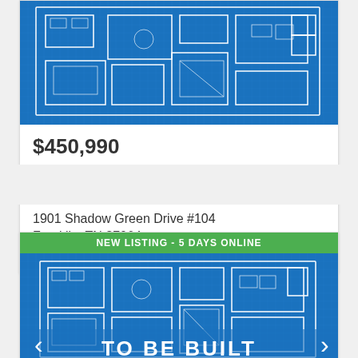[Figure (illustration): Blueprint floor plan of a condo unit shown in light blue technical drawing style]
$450,990
CONDO FOR SALE
PENDING
2 BEDS | 2 TOTAL BATHS | 1,249 SQFT
1901 Shadow Green Drive #104
Franklin, TN 37064
Shadow Green Subdivision
NEW LISTING - 5 DAYS ONLINE
[Figure (illustration): Blueprint floor plan with 'TO BE BUILT' overlay text and navigation arrows, in light blue technical drawing style]